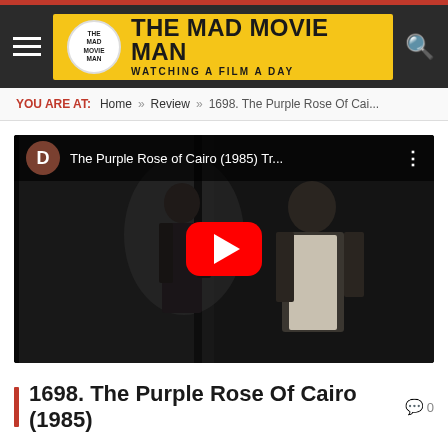THE MAD MOVIE MAN — WATCHING A FILM A DAY
YOU ARE AT: Home » Review » 1698. The Purple Rose Of Cai...
[Figure (screenshot): YouTube video thumbnail for 'The Purple Rose of Cairo (1985) Tr...' showing two figures in a dark scene with a red YouTube play button in the center and channel avatar 'D' in the top left]
1698. The Purple Rose Of Cairo (1985)